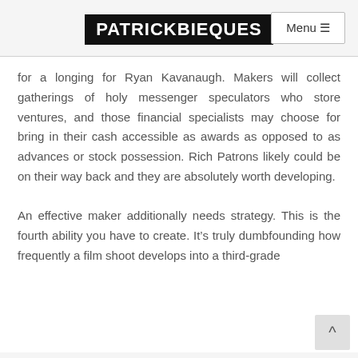PATRICKBIEQUES
for a longing for Ryan Kavanaugh. Makers will collect gatherings of holy messenger speculators who store ventures, and those financial specialists may choose for bring in their cash accessible as awards as opposed to as advances or stock possession. Rich Patrons likely could be on their way back and they are absolutely worth developing.

An effective maker additionally needs strategy. This is the fourth ability you have to create. It's truly dumbfounding how frequently a film shoot develops into a third-grade